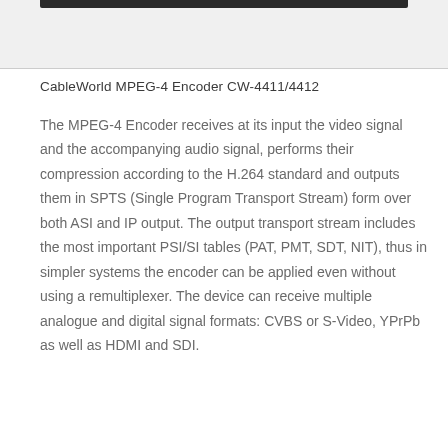[Figure (photo): Top portion of a product image, dark bar visible at top edge against light gray background]
CableWorld MPEG-4 Encoder CW-4411/4412
The MPEG-4 Encoder receives at its input the video signal and the accompanying audio signal, performs their compression according to the H.264 standard and outputs them in SPTS (Single Program Transport Stream) form over both ASI and IP output. The output transport stream includes the most important PSI/SI tables (PAT, PMT, SDT, NIT), thus in simpler systems the encoder can be applied even without using a remultiplexer. The device can receive multiple analogue and digital signal formats: CVBS or S-Video, YPrPb as well as HDMI and SDI.